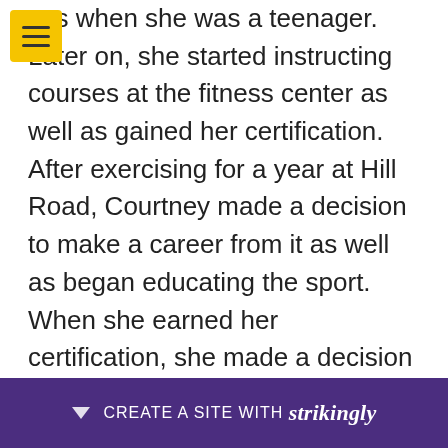ays when she was a teenager. Later on, she started instructing courses at the fitness center as well as gained her certification. After exercising for a year at Hill Road, Courtney made a decision to make a career from it as well as began educating the sport. When she earned her certification, she made a decision to teach kickboxing courses at Squires and Hillside Street.
The goal of Steve McLaughlin's classes is to aid pupils gain the abilities needed to be effective martial musicians. While he is a star fitness instructor, his programs are geared towards the signi... her hill...
[Figure (other): Strikingly website builder promotional bar at bottom of page with purple background, downward arrow, and text 'CREATE A SITE WITH strikingly']